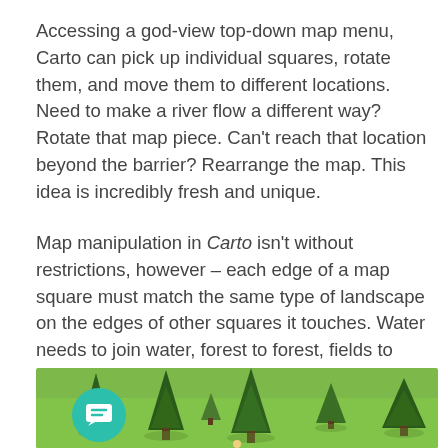Accessing a god-view top-down map menu, Carto can pick up individual squares, rotate them, and move them to different locations. Need to make a river flow a different way? Rotate that map piece. Can't reach that location beyond the barrier? Rearrange the map. This idea is incredibly fresh and unique.
Map manipulation in Carto isn't without restrictions, however – each edge of a map square must match the same type of landscape on the edges of other squares it touches. Water needs to join water, forest to forest, fields to fields, and so on. Even with these limitations, there are enough unique layouts so that the configurations seem almost endless.
[Figure (screenshot): Top-down game screenshot showing a grassy field with various stylized trees (tall dark green conifers and smaller broad trees) scattered across a green meadow. A chat/comment button overlay appears in the lower-left corner.]